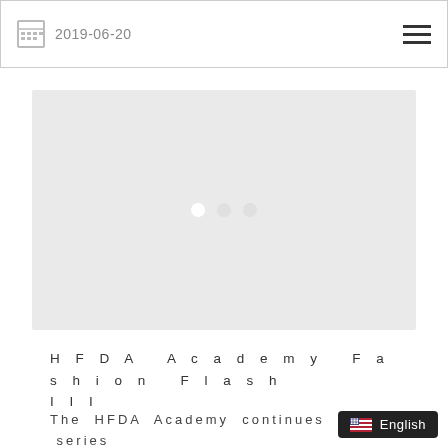2019-06-20
[Figure (photo): Grey placeholder slideshow area with three dot indicators (carousel navigation dots) in the center]
HFDA Academy Fashion Flash III
The HFDA Academy continues the series